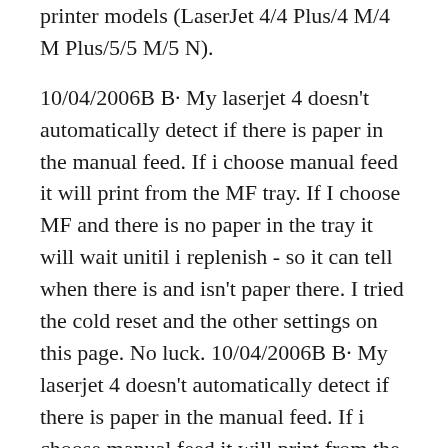printer models (LaserJet 4/4 Plus/4 M/4 M Plus/5/5 M/5 N).
10/04/2006B B· My laserjet 4 doesn't automatically detect if there is paper in the manual feed. If i choose manual feed it will print from the MF tray. If I choose MF and there is no paper in the tray it will wait unitil i replenish - so it can tell when there is and isn't paper there. I tried the cold reset and the other settings on this page. No luck. 10/04/2006B B· My laserjet 4 doesn't automatically detect if there is paper in the manual feed. If i choose manual feed it will print from the MF tray. If I choose MF and there is no paper in the tray it will wait unitil i replenish - so it can tell when there is and isn't paper there. I tried the cold reset and the other